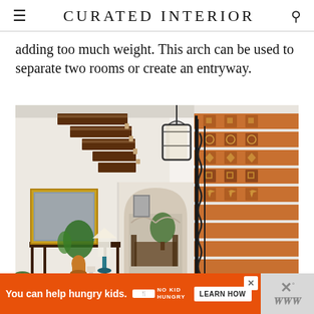CURATED INTERIOR
adding too much weight. This arch can be used to separate two rooms or create an entryway.
[Figure (photo): Interior entryway of a Spanish-style home showing floating wooden stair steps on the left, a decorative arched passageway in the center leading to a dining room, a hanging lantern, a console table with plant and lamp, a patterned area rug on terracotta tile floor, and ornate tiled staircase with wrought iron railing on the right.]
You can help hungry kids. NO KID HUNGRY LEARN HOW